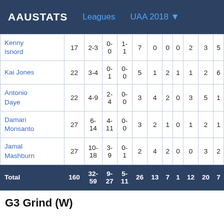AAUSTATS   Leagues   UAA 2018
| Player | Min | FG | 3PT | FT | Reb | Ast | Stl | Blk | TO | PF | Pts |
| --- | --- | --- | --- | --- | --- | --- | --- | --- | --- | --- | --- |
| Kenny Isnord | 17 | 2-3 | 0-0 | 1-1 | 7 | 0 | 0 | 0 | 2 | 3 | 5 |
| Kai Jones | 22 | 3-4 | 0-1 | 0-0 | 5 | 1 | 2 | 1 | 1 | 2 | 6 |
| Antonio Daye | 22 | 4-9 | 2-4 | 0-0 | 3 | 4 | 2 | 0 | 3 | 5 | 1 |
| Damari Monsanto | 27 | 6-14 | 4-11 | 0-0 | 3 | 2 | 1 | 0 | 1 | 2 | 1 |
| Jamal Mashburn | 27 | 10-18 | 3-9 | 0-1 | 2 | 4 | 2 | 0 | 0 | 3 | 2 |
| Total | 160 | 32-59 | 9-27 | 5-11 | 26 | 13 | 7 | 1 | 12 | 20 | 7 |
G3 Grind (W)